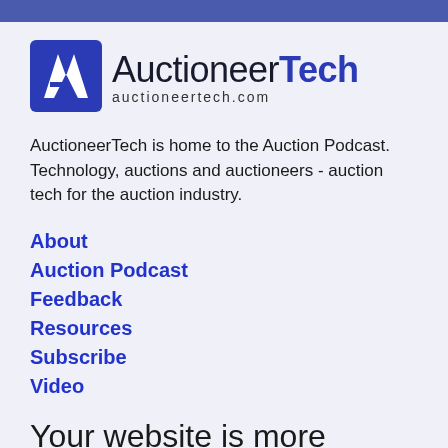[Figure (logo): AuctioneerTech logo with stylized 'AI' icon and text 'AuctioneerTech' with subtitle 'auctioneertech.com']
AuctioneerTech is home to the Auction Podcast.
Technology, auctions and auctioneers - auction tech for the auction industry.
About
Auction Podcast
Feedback
Resources
Subscribe
Video
Your website is more